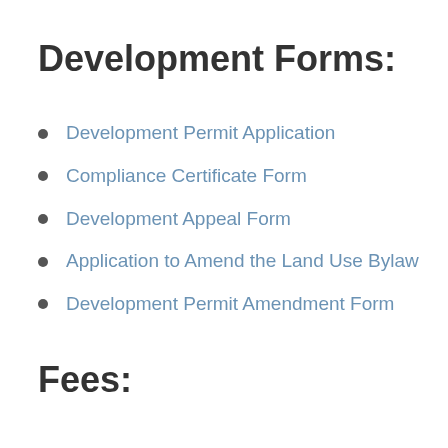Development Forms:
Development Permit Application
Compliance Certificate Form
Development Appeal Form
Application to Amend the Land Use Bylaw
Development Permit Amendment Form
Fees: